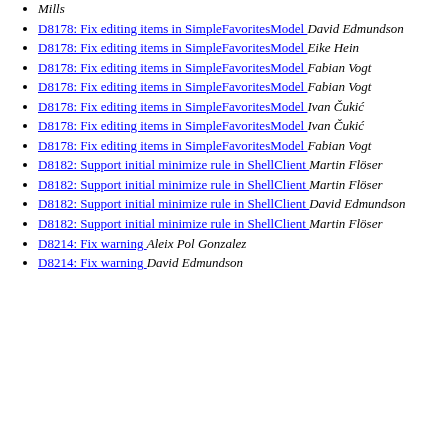Mills
D8178: Fix editing items in SimpleFavoritesModel  David Edmundson
D8178: Fix editing items in SimpleFavoritesModel  Eike Hein
D8178: Fix editing items in SimpleFavoritesModel  Fabian Vogt
D8178: Fix editing items in SimpleFavoritesModel  Fabian Vogt
D8178: Fix editing items in SimpleFavoritesModel  Ivan Čukić
D8178: Fix editing items in SimpleFavoritesModel  Ivan Čukić
D8178: Fix editing items in SimpleFavoritesModel  Fabian Vogt
D8182: Support initial minimize rule in ShellClient  Martin Flöser
D8182: Support initial minimize rule in ShellClient  Martin Flöser
D8182: Support initial minimize rule in ShellClient  David Edmundson
D8182: Support initial minimize rule in ShellClient  Martin Flöser
D8214: Fix warning  Aleix Pol Gonzalez
D8214: Fix warning  David Edmundson